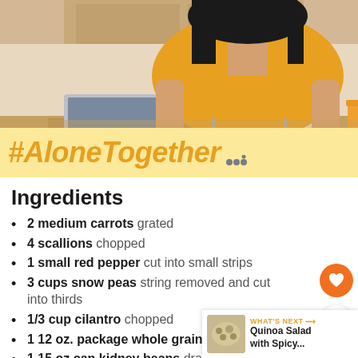[Figure (photo): Woman in yellow shirt eating at a table with a laptop and orange juice in a kitchen setting]
#AloneTogether
Ingredients
2 medium carrots grated
4 scallions chopped
1 small red pepper cut into small strips
3 cups snow peas string removed and cut into thirds
1/3 cup cilantro chopped
1 12 oz. package whole grain pas…
1 15 oz can kidney beans drained and rinsed (optional)
WHAT'S NEXT → Quinoa Salad with Spicy...